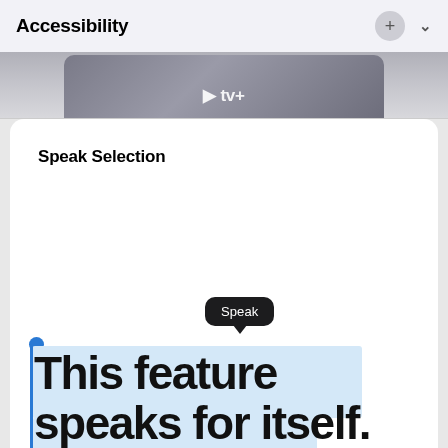Accessibility
[Figure (screenshot): Apple TV+ app screenshot strip at top of screen]
Speak Selection
[Figure (screenshot): iOS Speak Selection feature demonstration showing the word 'Speak' in a tooltip above selected text reading 'This feature speaks for itself.' with blue selection handles and highlight]
This feature speaks for itself.